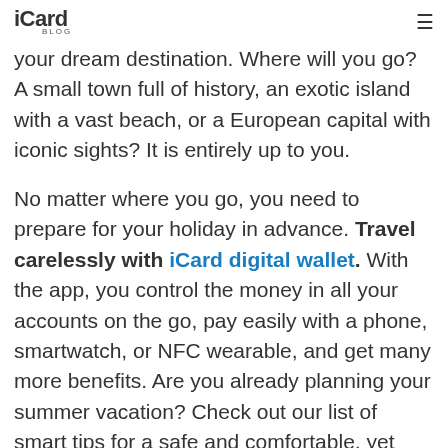iCard BLOG
your dream destination. Where will you go? A small town full of history, an exotic island with a vast beach, or a European capital with iconic sights? It is entirely up to you.
No matter where you go, you need to prepare for your holiday in advance. Travel carelessly with iCard digital wallet. With the app, you control the money in all your accounts on the go, pay easily with a phone, smartwatch, or NFC wearable, and get many more benefits. Are you already planning your summer vacation? Check out our list of smart tips for a safe and comfortable, yet exciting and memorable holiday.